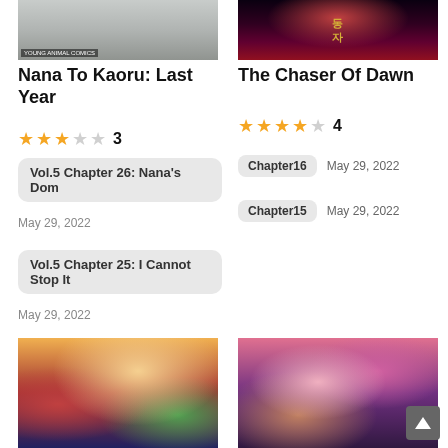[Figure (illustration): Manga cover for Nana To Kaoru: Last Year with Young Animal Comics label]
Nana To Kaoru: Last Year
★★★☆☆ 3
Vol.5 Chapter 26: Nana's Dom
May 29, 2022
Vol.5 Chapter 25: I Cannot Stop It
May 29, 2022
[Figure (illustration): Dark cover image for The Chaser Of Dawn with decorative elements]
The Chaser Of Dawn
★★★★☆ 4
Chapter16  May 29, 2022
Chapter15  May 29, 2022
[Figure (illustration): Manga illustration with multiple characters including red-haired and blonde characters]
[Figure (illustration): Manga illustration with pink-haired and dark-haired characters in autumn setting]